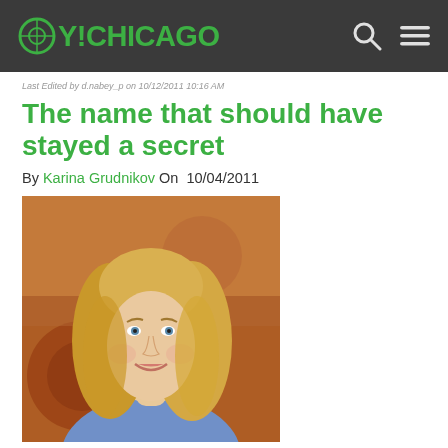OY!CHICAGO
Last Edited by d.nabey_p on 10/12/2011 10:16 AM
The name that should have stayed a secret
By Karina Grudnikov On 10/04/2011
[Figure (photo): Portrait photo of a smiling blonde woman in a blue top, with a decorative red/orange tapestry background]